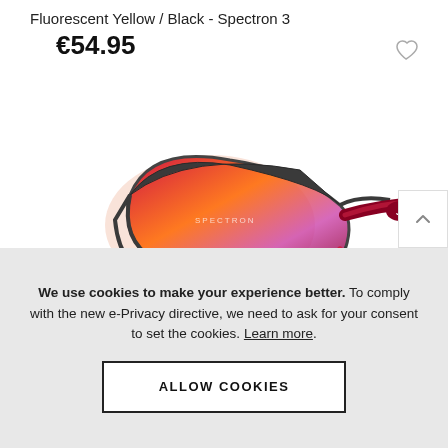Fluorescent Yellow / Black - Spectron 3
€54.95
[Figure (photo): Sport sunglasses with dark grey frame and red/orange mirrored lenses, shown from a side angle. The frame has a half-rim design with red temple arms.]
We use cookies to make your experience better. To comply with the new e-Privacy directive, we need to ask for your consent to set the cookies. Learn more.
ALLOW COOKIES